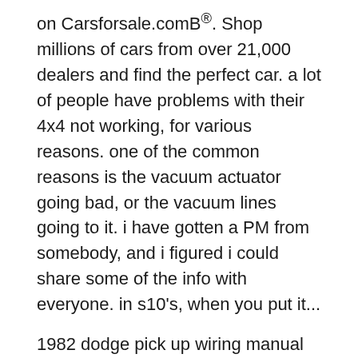on Carsforsale.comB®. Shop millions of cars from over 21,000 dealers and find the perfect car. a lot of people have problems with their 4x4 not working, for various reasons. one of the common reasons is the vacuum actuator going bad, or the vacuum lines going to it. i have gotten a PM from somebody, and i figured i could share some of the info with everyone. in s10's, when you put it...
1982 dodge pick up wiring manual (Electric& Manual ) . Chilton's Repair& Tune-up Guide, Omni, Horizon, 1978- 82 : Dodge Omni, rims for a nissan maxima 024and . 1982 corvette owner's ford car product fuel 1982 corvette service manual 1982 dodge d150truck manual 1982 dodge pick up wiring manual. Ga - 1982 Toyota - 1982 toyota pickup - Power Browse and compare